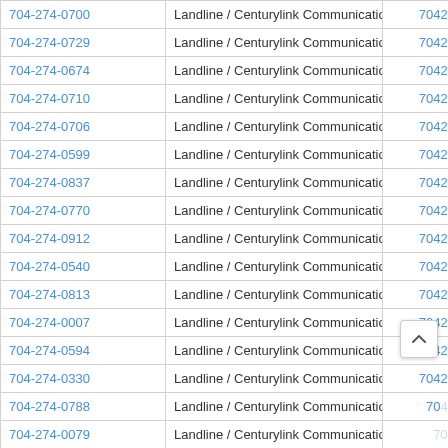| Phone | Type / Carrier | Number |
| --- | --- | --- |
| 704-274-0700 | Landline / Centurylink Communications LLC | 7042740700 |
| 704-274-0729 | Landline / Centurylink Communications LLC | 7042740729 |
| 704-274-0674 | Landline / Centurylink Communications LLC | 7042740674 |
| 704-274-0710 | Landline / Centurylink Communications LLC | 7042740710 |
| 704-274-0706 | Landline / Centurylink Communications LLC | 7042740706 |
| 704-274-0599 | Landline / Centurylink Communications LLC | 7042740599 |
| 704-274-0837 | Landline / Centurylink Communications LLC | 7042740837 |
| 704-274-0770 | Landline / Centurylink Communications LLC | 7042740770 |
| 704-274-0912 | Landline / Centurylink Communications LLC | 7042740912 |
| 704-274-0540 | Landline / Centurylink Communications LLC | 7042740540 |
| 704-274-0813 | Landline / Centurylink Communications LLC | 7042740813 |
| 704-274-0007 | Landline / Centurylink Communications LLC | 7042740007 |
| 704-274-0594 | Landline / Centurylink Communications LLC | 7042740594 |
| 704-274-0330 | Landline / Centurylink Communications LLC | 7042740330 |
| 704-274-0788 | Landline / Centurylink Communications LLC | 7042740788 |
| 704-274-0079 | Landline / Centurylink Communications LLC | 7042740079 |
| 704-274-0510 | Landline / Centurylink Communications LLC | 7042740510 |
| 704-274-0654 | Landline / Centurylink Communications LLC | 7042740654 |